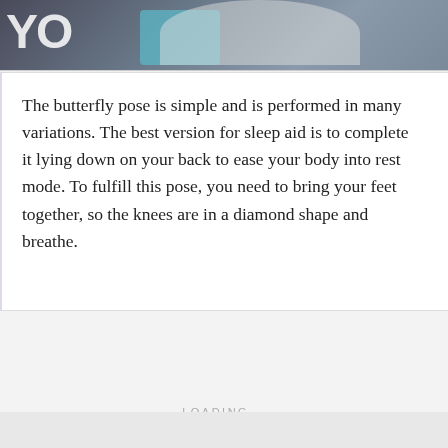[Figure (photo): Partial photo of a person in a yoga pose, showing blue/teal clothing and white shirt against a dark background. Text 'YO' visible in top left corner.]
The butterfly pose is simple and is performed in many variations. The best version for sleep aid is to complete it lying down on your back to ease your body into rest mode. To fulfill this pose, you need to bring your feet together, so the knees are in a diamond shape and breathe.
LOADING...